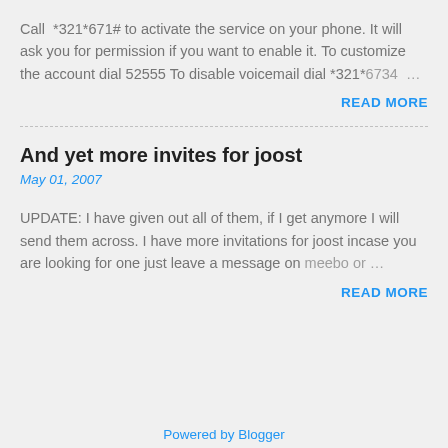Call *321*671# to activate the service on your phone. It will ask you for permission if you want to enable it. To customize the account dial 52555 To disable voicemail dial *321*6734 …
READ MORE
And yet more invites for joost
May 01, 2007
UPDATE: I have given out all of them, if I get anymore I will send them across. I have more invitations for joost incase you are looking for one just leave a message on meebo or …
READ MORE
Powered by Blogger